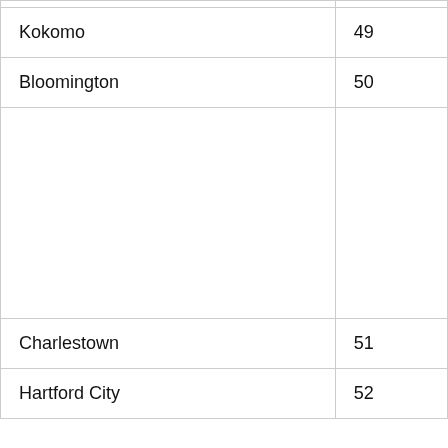| Kokomo | 49 |
| Bloomington | 50 |
|  |  |
| Charlestown | 51 |
| Hartford City | 52 |